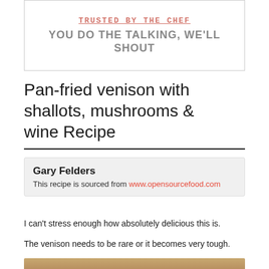YOU DO THE TALKING, WE'LL SHOUT
Pan-fried venison with shallots, mushrooms & wine Recipe
Gary Felders
This recipe is sourced from www.opensourcefood.com
I can't stress enough how absolutely delicious this is.
The venison needs to be rare or it becomes very tough.
[Figure (photo): Photo of pan-fried venison dish on a white plate with sides]